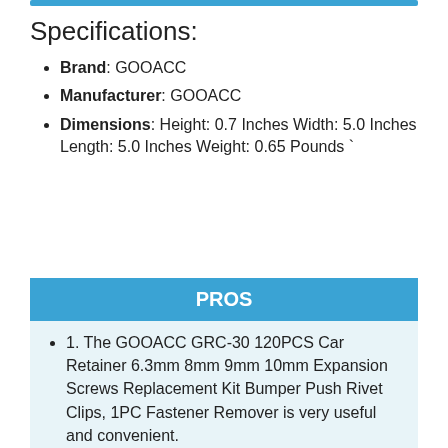Specifications:
Brand: GOOACC
Manufacturer: GOOACC
Dimensions: Height: 0.7 Inches Width: 5.0 Inches Length: 5.0 Inches Weight: 0.65 Pounds `
PROS
1. The GOOACC GRC-30 120PCS Car Retainer 6.3mm 8mm 9mm 10mm Expansion Screws Replacement Kit Bumper Push Rivet Clips, 1PC Fastener Remover is very useful and convenient.
2. It is very easy to use.